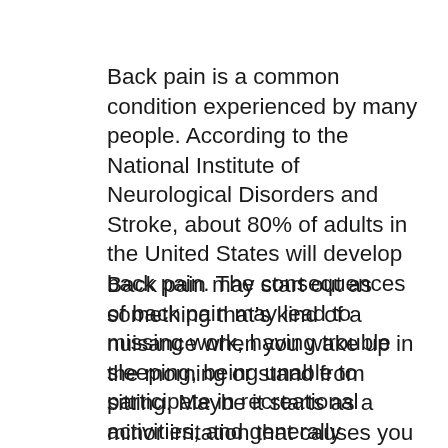Back pain is a common condition experienced by many people. According to the National Institute of Neurological Disorders and Stroke, about 80% of adults in the United States will develop back pain. The consequences of back pain may lead to missing work, having trouble sleeping, being unable to participate in recreational activities, and generally experience a lower quality of life.
Back pain may start out as something that's kind of a nuisance when you wake up in the morning or stand from sitting. Maybe it starts as a minor irritation that causes you to move slowly for the first few minutes of the day, and